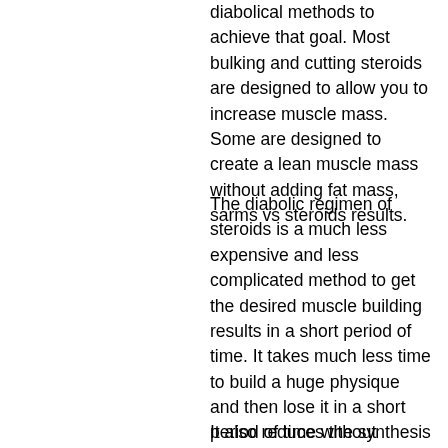diabolical methods to achieve that goal. Most bulking and cutting steroids are designed to allow you to increase muscle mass. Some are designed to create a lean muscle mass without adding fat mass, sarms vs steroids results.
The diabolic regimen of steroids is a much less expensive and less complicated method to get the desired muscle building results in a short period of time. It takes much less time to build a huge physique and then lose it in a short period of time without having a huge increase in muscle mass, sarms vs prohormones results. The main goal of bulking steroid's however is increase muscle mass while maintaining the same level of health you have now.
It also reduces the synthesis of food...